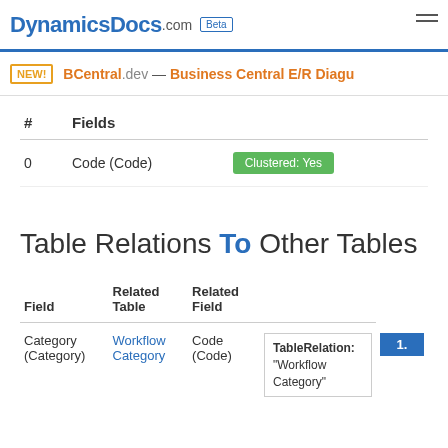DynamicsDocs.com Beta
NEW! BCentral.dev — Business Central E/R Diagu
| # | Fields |  |
| --- | --- | --- |
| 0 | Code (Code) | Clustered: Yes |
Table Relations To Other Tables
| Field | Related Table | Related Field |  |
| --- | --- | --- | --- |
| Category (Category) | Workflow Category | Code (Code) | TableRelation: "Workflow Category" |